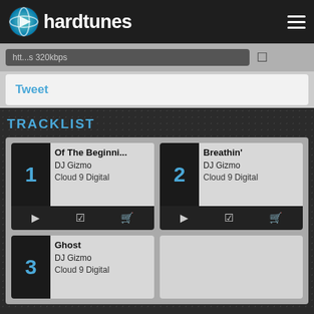hardtunes
htt...s 320kbps
Tweet
TRACKLIST
1 - Of The Beginni... | DJ Gizmo | Cloud 9 Digital
2 - Breathin' | DJ Gizmo | Cloud 9 Digital
3 - Ghost | DJ Gizmo | Cloud 9 Digital